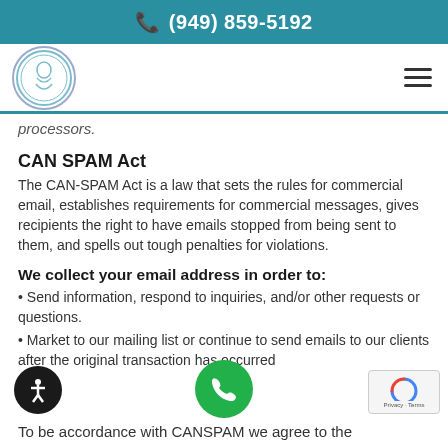☎ (949) 859-5192
[Figure (logo): Circular logo with figure illustration and teal border]
processors.
CAN SPAM Act
The CAN-SPAM Act is a law that sets the rules for commercial email, establishes requirements for commercial messages, gives recipients the right to have emails stopped from being sent to them, and spells out tough penalties for violations.
We collect your email address in order to:
• Send information, respond to inquiries, and/or other requests or questions.
• Market to our mailing list or continue to send emails to our clients after the original transaction has occurred
To be accordance with CANSPAM we agree to the